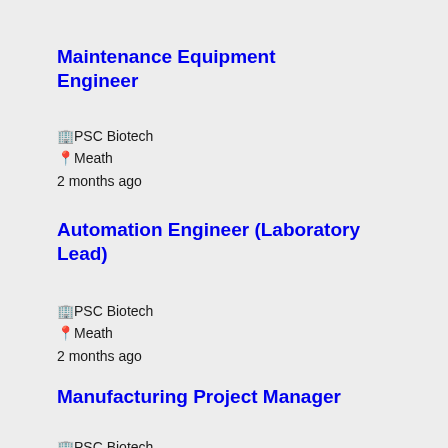Maintenance Equipment Engineer
🏢PSC Biotech
📍Meath
2 months ago
Automation Engineer (Laboratory Lead)
🏢PSC Biotech
📍Meath
2 months ago
Manufacturing Project Manager
🏢PSC Biotech